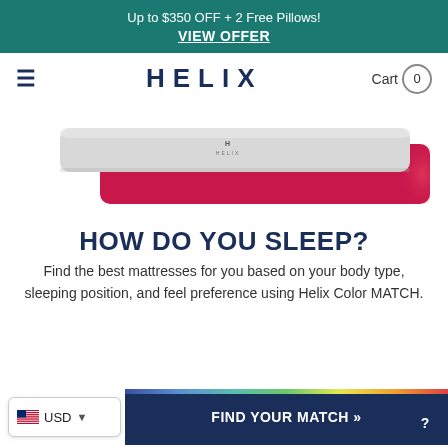Up to $350 OFF + 2 Free Pillows! VIEW OFFER
HELIX
Cart 0
[Figure (photo): Helix mattress product photo showing a grey and red/pink mattress on a white background]
HOW DO YOU SLEEP?
Find the best mattresses for you based on your body type, sleeping position, and feel preference using Helix Color MATCH.
FIND YOUR MATCH »
USD